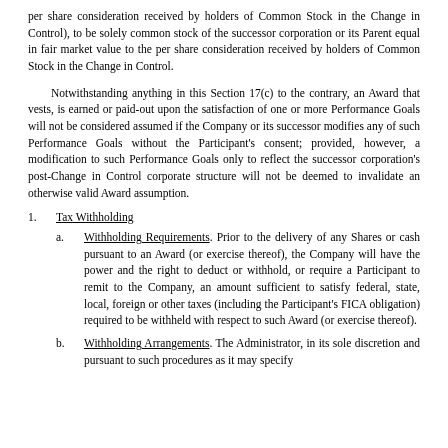per share consideration received by holders of Common Stock in the Change in Control), to be solely common stock of the successor corporation or its Parent equal in fair market value to the per share consideration received by holders of Common Stock in the Change in Control.
Notwithstanding anything in this Section 17(c) to the contrary, an Award that vests, is earned or paid-out upon the satisfaction of one or more Performance Goals will not be considered assumed if the Company or its successor modifies any of such Performance Goals without the Participant's consent; provided, however, a modification to such Performance Goals only to reflect the successor corporation's post-Change in Control corporate structure will not be deemed to invalidate an otherwise valid Award assumption.
1. Tax Withholding
a. Withholding Requirements. Prior to the delivery of any Shares or cash pursuant to an Award (or exercise thereof), the Company will have the power and the right to deduct or withhold, or require a Participant to remit to the Company, an amount sufficient to satisfy federal, state, local, foreign or other taxes (including the Participant's FICA obligation) required to be withheld with respect to such Award (or exercise thereof).
b. Withholding Arrangements. The Administrator, in its sole discretion and pursuant to such procedures as it may specify